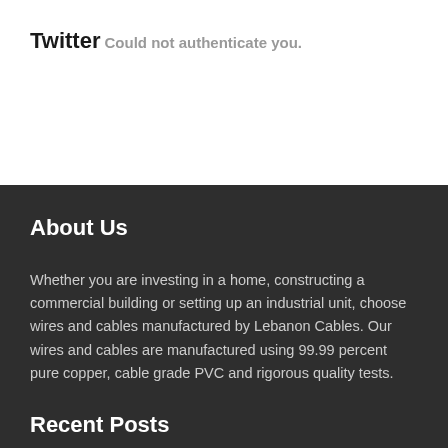Twitter
Could not authenticate you.
About Us
Whether you are investing in a home, constructing a commercial building or setting up an industrial unit, choose wires and cables manufactured by Lebanon Cables. Our wires and cables are manufactured using 99.99 percent pure copper, cable grade PVC and rigorous quality tests.
Recent Posts